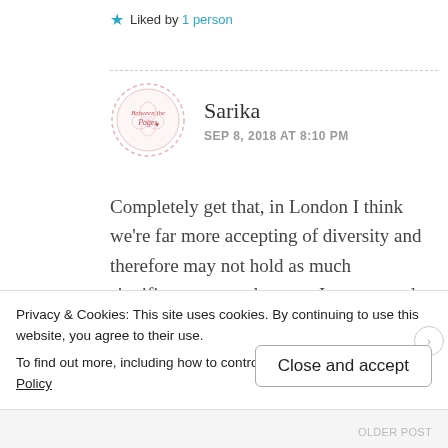Liked by 1 person
Sarika
SEP 8, 2018 AT 8:10 PM
Completely get that, in London I think we're far more accepting of diversity and therefore may not hold as much significance to me because I see rep and also because I read for different reasons
Privacy & Cookies: This site uses cookies. By continuing to use this website, you agree to their use.
To find out more, including how to control cookies, see here: Cookie Policy
Close and accept